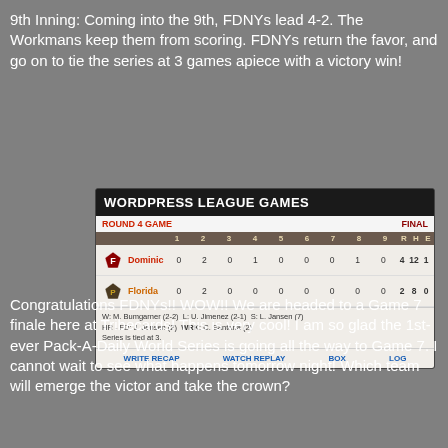9th Inning: Coming into the 9th, FDNYs lead 4-2. The Workmans keep them from scoring. FDNYs return the favor, and go on to tie the series at 3 games apiece with a victory win!
[Figure (screenshot): WordPress League Games scoreboard showing Round 4 Game Final. Dominic: 0 2 0 1 0 0 0 1 0 — R:4 H:12 E:1. Florida: 0 2 0 0 0 0 0 0 0 — R:2 H:8 E:0. W: M. Bumgarner (2-2) L: U. Jimenez (2-1) S: L. Jansen (7). HR - FD: J. Jensen (2) WRK: C. Santana (2). Series is tied at 3.]
Congratulations FDNYs!! WOW!! We are headed to a Game 7 finale here at Tribecards! This is very cool! I am so glad the 1st-ever Pack-A-Daily World Series is going all the way to Game 7. I cannot wait to see what happens tomorrow night! Which team will emerge the victor and take the crown?